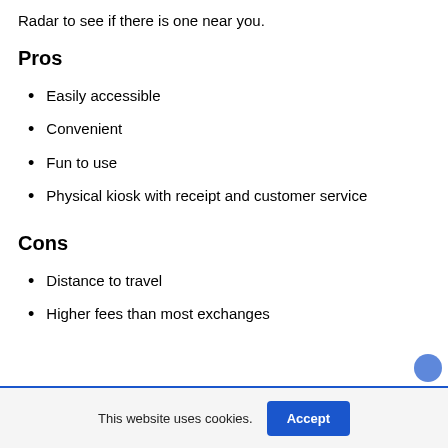Radar to see if there is one near you.
Pros
Easily accessible
Convenient
Fun to use
Physical kiosk with receipt and customer service
Cons
Distance to travel
Higher fees than most exchanges
This website uses cookies.